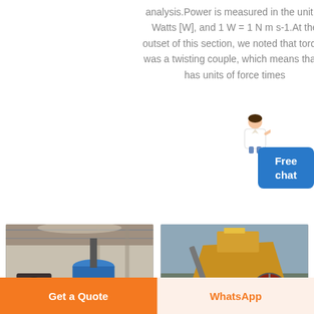analysis.Power is measured in the unit of Watts [W], and 1 W = 1 N m s-1.At the outset of this section, we noted that torque was a twisting couple, which means that it has units of force times
[Figure (illustration): Avatar/mascot of a woman in white coat pointing, used for a free chat button UI element]
Free chat
...
[Figure (photo): Industrial factory interior with large blue machinery, possibly a ball mill or mixing tank]
[Figure (photo): Outdoor industrial crusher machine with yellow/orange body, heavy machinery on a work site]
Rotating Mass Torque Equation
A solid cylinder (I = MRA(2) d...
Get a Quote
WhatsApp